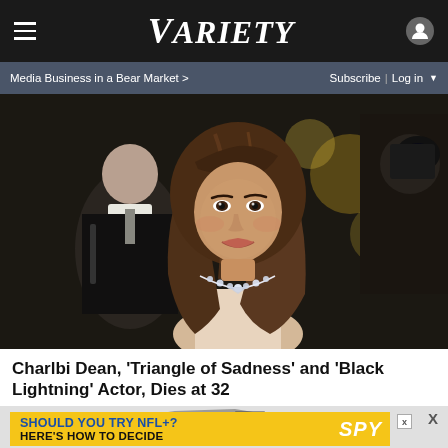VARIETY — Media Business in a Bear Market > | Subscribe | Log in
[Figure (photo): Photo of Charlbi Dean at a red carpet event, smiling, wearing a diamond necklace, with photographers in the background at Cannes]
Charlbi Dean, 'Triangle of Sadness' and 'Black Lightning' Actor, Dies at 32
[Figure (other): Advertisement banner: 'SHOULD YOU TRY NFL+? HERE'S HOW TO DECIDE' with SPY logo on yellow background]